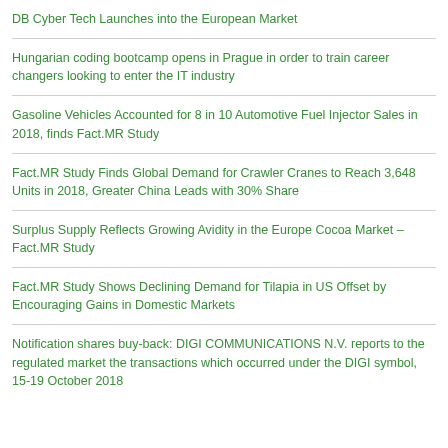DB Cyber Tech Launches into the European Market
Hungarian coding bootcamp opens in Prague in order to train career changers looking to enter the IT industry
Gasoline Vehicles Accounted for 8 in 10 Automotive Fuel Injector Sales in 2018, finds Fact.MR Study
Fact.MR Study Finds Global Demand for Crawler Cranes to Reach 3,648 Units in 2018, Greater China Leads with 30% Share
Surplus Supply Reflects Growing Avidity in the Europe Cocoa Market – Fact.MR Study
Fact.MR Study Shows Declining Demand for Tilapia in US Offset by Encouraging Gains in Domestic Markets
Notification shares buy-back: DIGI COMMUNICATIONS N.V. reports to the regulated market the transactions which occurred under the DIGI symbol, 15-19 October 2018